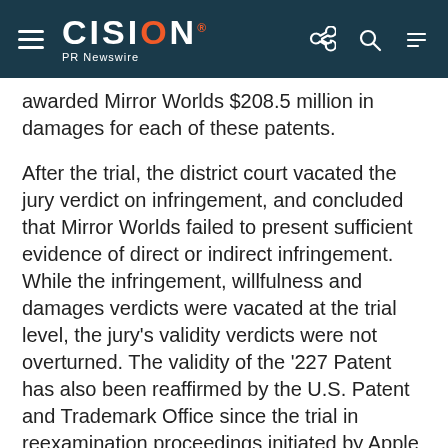CISION PR Newswire
awarded Mirror Worlds $208.5 million in damages for each of these patents.
After the trial, the district court vacated the jury verdict on infringement, and concluded that Mirror Worlds failed to present sufficient evidence of direct or indirect infringement.  While the infringement, willfulness and damages verdicts were vacated at the trial level, the jury's validity verdicts were not overturned. The validity of the '227 Patent has also been reaffirmed by the U.S. Patent and Trademark Office since the trial in reexamination proceedings initiated by Apple resulting in two re-examination certificates which further validates that patent.